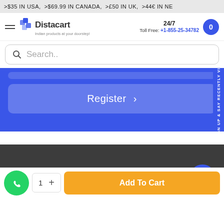>$35 IN USA, >$69.99 IN CANADA, >£50 IN UK, >44€ IN NE
[Figure (logo): Distacart logo with blue icon and text 'Indian products at your doorstep']
24/7 Toll Free: +1-855-25-34782
Search..
Register >
sign up & say RECENTLY VIEW
Safe and secure.
[Figure (illustration): Chat bubble icon on blue circular button]
1  +
Add To Cart